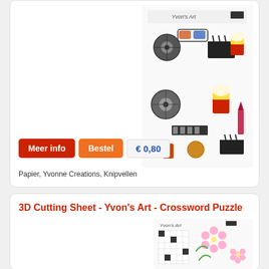[Figure (illustration): 3D cutting sheet product image showing movie/cinema themed sticker elements including film reel, popcorn, clapperboard, 3D glasses, from Yvon's Art brand]
Meer info
Bestel
€ 0,80
Papier, Yvonne Creations, Knipvellen
3D Cutting Sheet - Yvon's Art - Crossword Puzzle
[Figure (illustration): 3D cutting sheet product image showing crossword puzzle themed elements with pink flowers, from Yvon's Art brand]